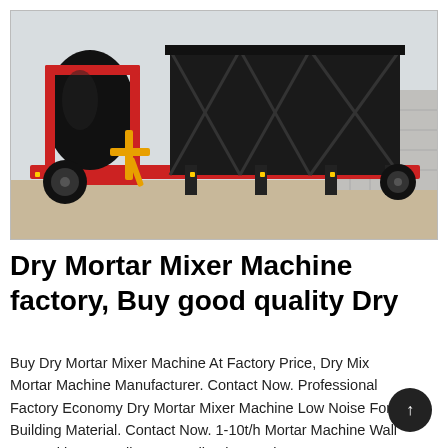[Figure (photo): A large dry mortar mixer machine mounted on a red flatbed trailer. On the left is a black cylindrical drum mixer with red frame, and on the right is a large black hopper/silo structure with X-bracing, all on a red trailer chassis, photographed outdoors on a concrete surface.]
Dry Mortar Mixer Machine factory, Buy good quality Dry
Buy Dry Mortar Mixer Machine At Factory Price, Dry Mix Mortar Machine Manufacturer. Contact Now. Professional Factory Economy Dry Mortar Mixer Machine Low Noise For Building Material. Contact Now. 1-10t/h Mortar Machine Wall Putty Skim Coat Tile Grout Adhesive P Mixers. Contact Now.